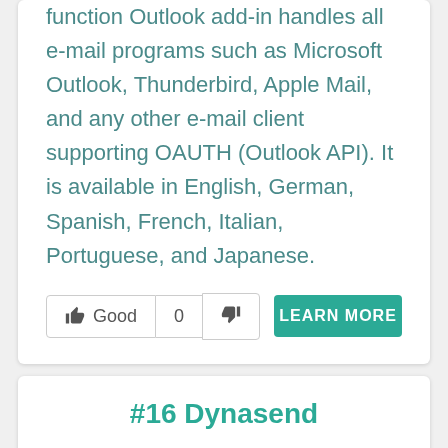function Outlook add-in handles all e-mail programs such as Microsoft Outlook, Thunderbird, Apple Mail, and any other e-mail client supporting OAUTH (Outlook API). It is available in English, German, Spanish, French, Italian, Portuguese, and Japanese.
Good 0 [thumbs down] LEARN MORE
#16 Dynasend
[Figure (logo): Dynasend logo (dark blue paper airplane icon) and a teal heart favorite button]